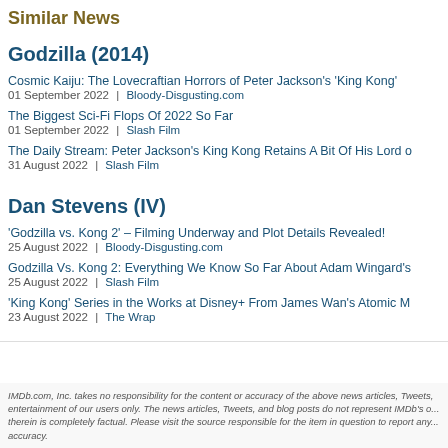Similar News
Godzilla (2014)
Cosmic Kaiju: The Lovecraftian Horrors of Peter Jackson's 'King Kong'
01 September 2022  |  Bloody-Disgusting.com
The Biggest Sci-Fi Flops Of 2022 So Far
01 September 2022  |  Slash Film
The Daily Stream: Peter Jackson's King Kong Retains A Bit Of His Lord O...
31 August 2022  |  Slash Film
Dan Stevens (IV)
'Godzilla vs. Kong 2' – Filming Underway and Plot Details Revealed!
25 August 2022  |  Bloody-Disgusting.com
Godzilla Vs. Kong 2: Everything We Know So Far About Adam Wingard's...
25 August 2022  |  Slash Film
'King Kong' Series in the Works at Disney+ From James Wan's Atomic M...
23 August 2022  |  The Wrap
IMDb.com, Inc. takes no responsibility for the content or accuracy of the above news articles, Tweets, entertainment of our users only. The news articles, Tweets, and blog posts do not represent IMDb's o... therein is completely factual. Please visit the source responsible for the item in question to report any... accuracy.